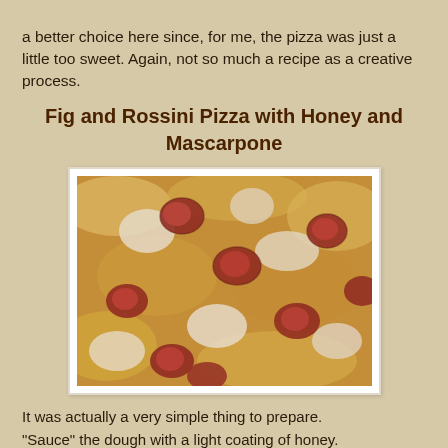a better choice here since, for me, the pizza was just a little too sweet. Again, not so much a recipe as a creative process.
Fig and Rossini Pizza with Honey and Mascarpone
[Figure (photo): Close-up photo of Fig and Rossini Pizza with Honey and Mascarpone, showing quartered figs, melted cheese, and golden baked dough]
It was actually a very simple thing to prepare.
"Sauce" the dough with a light coating of honey.
Place alternating dollops of Mascarpone and quartered figs.
Simply place small pieces of Rossini (or Gorgonzola) on